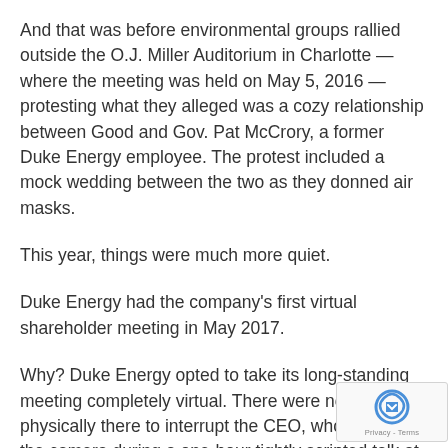And that was before environmental groups rallied outside the O.J. Miller Auditorium in Charlotte — where the meeting was held on May 5, 2016 — protesting what they alleged was a cozy relationship between Good and Gov. Pat McCrory, a former Duke Energy employee. The protest included a mock wedding between the two as they donned air masks.
This year, things were much more quiet.
Duke Energy had the company's first virtual shareholder meeting in May 2017.
Why? Duke Energy opted to take its long-standing meeting completely virtual. There were no investors physically there to interrupt the CEO, who spoke to the camera during a one-hour tightly scripted talk at an undisclosed location. She answered shareholder questions that were submitted online and read to her by Michael Callahan,